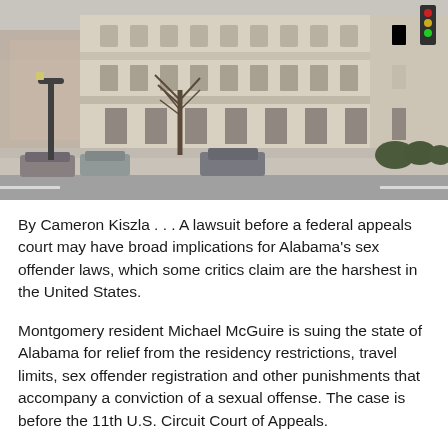[Figure (photo): Photograph of a large classical stone federal courthouse building on a street corner, with cars parked in front and bare trees visible. Traffic light visible in the upper right corner.]
By Cameron Kiszla . . . A lawsuit before a federal appeals court may have broad implications for Alabama's sex offender laws, which some critics claim are the harshest in the United States.
Montgomery resident Michael McGuire is suing the state of Alabama for relief from the residency restrictions, travel limits, sex offender registration and other punishments that accompany a conviction of a sexual offense. The case is before the 11th U.S. Circuit Court of Appeals.
McGuire was convicted of sexual assault in Colorado more than